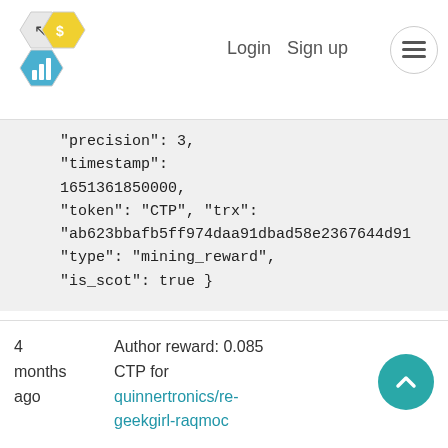Login  Sign up  ☰
"precision": 3, "timestamp": 1651361850000, "token": "CTP", "trx": "ab623bbafb5ff974daa91dbad58e2367644d91 "type": "mining_reward", "is_scot": true }
4 months ago
Author reward: 0.085 CTP for quinnertronics/re-geekgirl-raqmoc
5 months ago
{ "account": "quinnertronics", "id": 217200742,